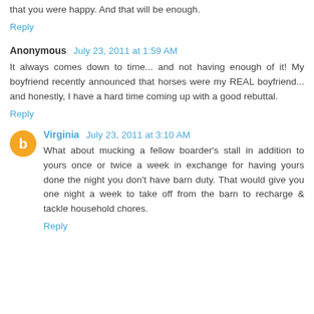that you were happy. And that will be enough.
Reply
Anonymous  July 23, 2011 at 1:59 AM
It always comes down to time... and not having enough of it! My boyfriend recently announced that horses were my REAL boyfriend... and honestly, I have a hard time coming up with a good rebuttal.
Reply
Virginia  July 23, 2011 at 3:10 AM
What about mucking a fellow boarder's stall in addition to yours once or twice a week in exchange for having yours done the night you don't have barn duty. That would give you one night a week to take off from the barn to recharge & tackle household chores.
Reply